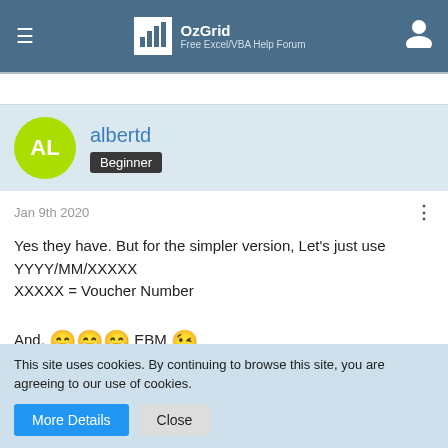OzGrid — Free Excel/VBA Help Forum
albertd
Beginner
Jan 9th 2020
Yes they have. But for the simpler version, Let's just use YYYY/MM/XXXXX
XXXXX = Voucher Number

And, 😄😄😄 EBM 😉
This site uses cookies. By continuing to browse this site, you are agreeing to our use of cookies.